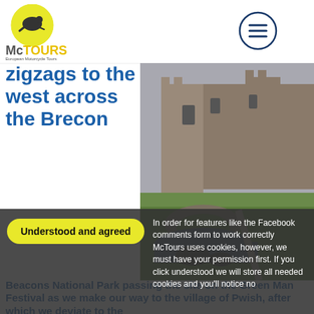[Figure (logo): McTours European Motorcycle Tours logo — yellow circle with motorcycle rider illustration, text McTOURS below and www.mctours.eu]
[Figure (other): Hamburger menu icon — circle with three horizontal lines]
zigzags to the west across the Brecon
[Figure (photo): Photo of a medieval stone castle ruin in background with a stone arched bridge over a rocky stream in foreground, green grass, overcast sky]
Beacons National Park passing the site on the Green Man Festival as we make our way to the village of Pwish, after which we deviate to the [Pontsticill] Reservoir, the largest in the area. This brings us to the Brecon Mountain Railway, 2 miles
Understood and agreed
In order for features like the Facebook comments form to work correctly McTours uses cookies, however, we must have your permission first. If you click understood we will store all needed cookies and you'll notice no